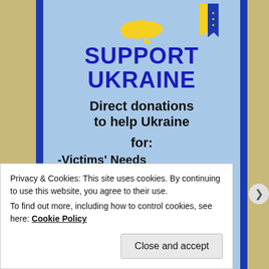[Figure (infographic): Support Ukraine donation poster with light blue background, blue side borders, yellow Ukraine map shape at top, EU ribbon, bold dark blue 'SUPPORT UKRAINE' heading, black bold text listing donation categories: Victims' Needs, Families of victims, Helping Crimea, Heaven's Hundred, Independent media]
Privacy & Cookies: This site uses cookies. By continuing to use this website, you agree to their use.
To find out more, including how to control cookies, see here: Cookie Policy
Close and accept